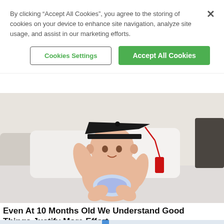By clicking “Accept All Cookies”, you agree to the storing of cookies on your device to enhance site navigation, analyze site usage, and assist in our marketing efforts.
Cookies Settings
Accept All Cookies
[Figure (photo): A baby wearing a black graduation cap and holding the red tassel, sitting cross-legged on a white bed with pillows behind]
Even At 10 Months Old We Understand Good Things Justify More Effort